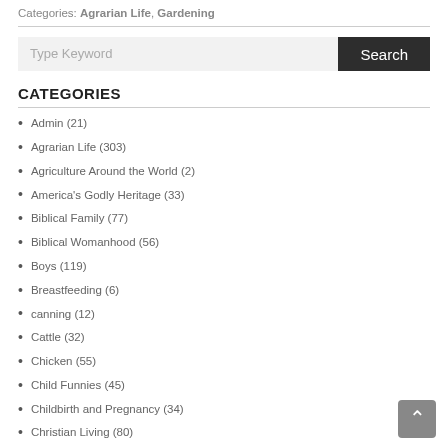Categories: Agrarian Life, Gardening
CATEGORIES
Admin (21)
Agrarian Life (303)
Agriculture Around the World (2)
America's Godly Heritage (33)
Biblical Family (77)
Biblical Womanhood (56)
Boys (119)
Breastfeeding (6)
canning (12)
Cattle (32)
Chicken (55)
Child Funnies (45)
Childbirth and Pregnancy (34)
Christian Living (80)
Church (67)